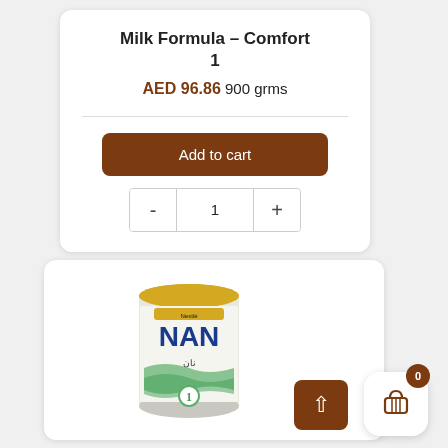Milk Formula – Comfort 1
AED 96.86 900 grms
Add to cart
- 1 +
[Figure (photo): NAN brand infant formula tin, can with gold lid, label showing NAN 1, green and white design with Arabic text]
0
^ (back to top)
[Figure (other): Shopping cart icon]